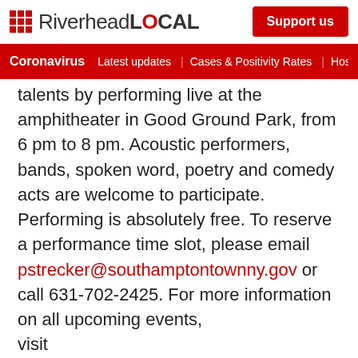RiverheadLOCAL | Support us
Coronavirus | Latest updates | Cases & Positivity Rates | Hospitaliza
talents by performing live at the amphitheater in Good Ground Park, from 6 pm to 8 pm. Acoustic performers, bands, spoken word, poetry and comedy acts are welcome to participate. Performing is absolutely free. To reserve a performance time slot, please email pstrecker@southamptontownny.gov or call 631-702-2425. For more information on all upcoming events, visit www.southamptontownny.gov/youthbureau
[Figure (other): Social sharing icons: Facebook, Twitter, Email, Print, Link]